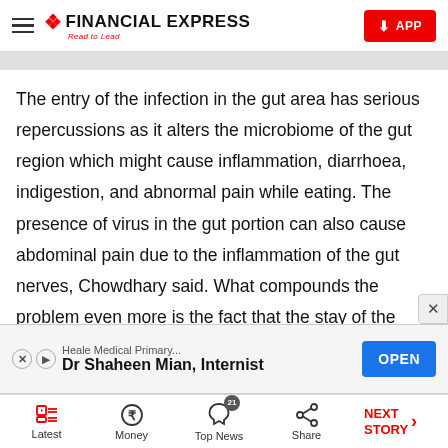FINANCIAL EXPRESS Read to Lead
The entry of the infection in the gut area has serious repercussions as it alters the microbiome of the gut region which might cause inflammation, diarrhoea, indigestion, and abnormal pain while eating. The presence of virus in the gut portion can also cause abdominal pain due to the inflammation of the gut nerves, Chowdhary said. What compounds the problem even more is the fact that the stay of the
[Figure (screenshot): Advertisement banner for Heale Medical Primary - Dr Shaheen Mian, Internist with OPEN button]
Latest | Money | Top News 21 | Share | NEXT STORY